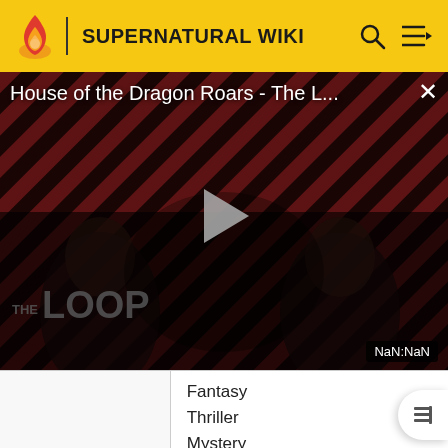SUPERNATURAL WIKI
[Figure (screenshot): Video player showing 'House of the Dragon Roars - The L...' with play button overlay, striped background with two dark figures, THE LOOP text visible at bottom, NaN:NaN timestamp badge in corner]
|  | Fantasy
Thriller
Mystery
Horror |
| Publisher(s) |  |